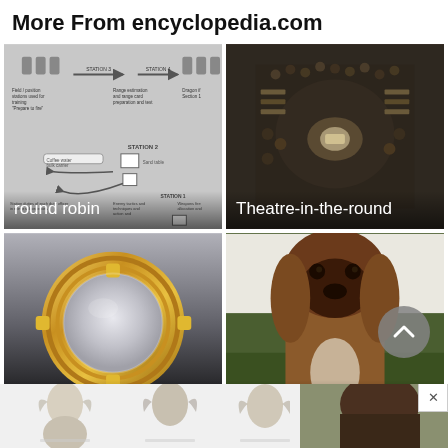More From encyclopedia.com
[Figure (screenshot): round robin - military training station diagram schematic]
[Figure (photo): Theatre-in-the-round - aerial view of circular theatre with audience]
[Figure (photo): Round Window - gold circular mirror/frame on gradient background]
[Figure (photo): bloodhound - close-up photo of a bloodhound dog]
[Figure (illustration): Bottom strip showing partial images of figures/illustrations]